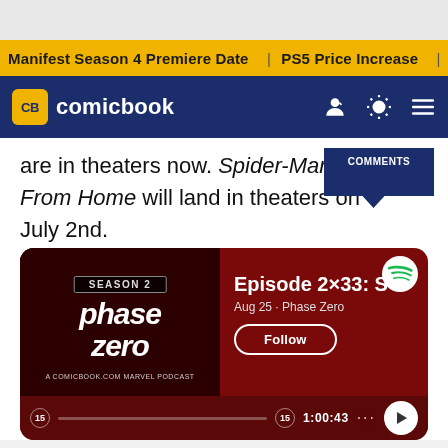Manifest Season 4 Premiere Date | PS5 Price Increase | Jon M
comicbook
are in theaters now. Spider-Man: Far From Home will land in theaters on July 2nd.
[Figure (screenshot): Spotify embedded podcast player for Phase Zero Season 2, Episode 2x33, Aug 25, Phase Zero, with Follow button and playback bar showing 1:00:43]